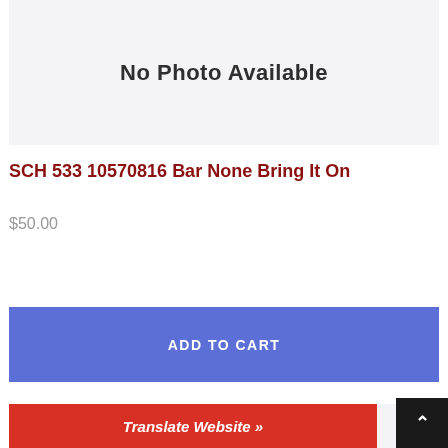[Figure (other): No Photo Available placeholder image box with light gray background]
SCH 533 10570816 Bar None Bring It On
$50.00
ADD TO CART
Translate Website »